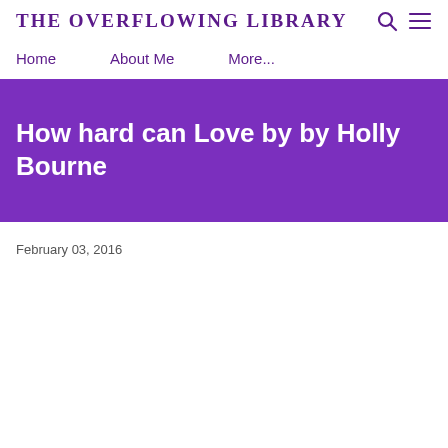THE OVERFLOWING LIBRARY
Home   About Me   More...
How hard can Love by by Holly Bourne
February 03, 2016